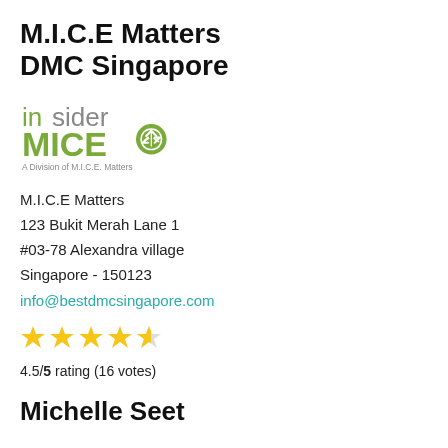M.I.C.E Matters DMC Singapore
[Figure (logo): insider MICE logo - green text with leaf/recycling icon, subtitle 'A Division of M.I.C.E. Matters']
M.I.C.E Matters
123 Bukit Merah Lane 1
#03-78 Alexandra village
Singapore - 150123
info@bestdmcsingapore.com
[Figure (other): 4.5 out of 5 star rating displayed as yellow stars]
4.5/5 rating (16 votes)
Michelle Seet